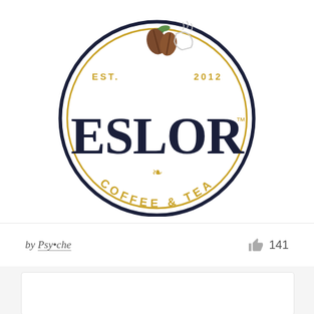[Figure (logo): Circular badge logo for 'ESLOR Coffee & Tea'. Dark navy circle border with gold inner ring. Text 'EST.' on upper left and '2012' on upper right in gold. Large bold serif text 'ESLOR' with TM superscript in dark navy. Bottom arc text 'COFFEE & TEA' in gold. Decorative coffee beans and tea cup illustration at top, small fleur-de-lis ornament above bottom text.]
by Psy•che   141